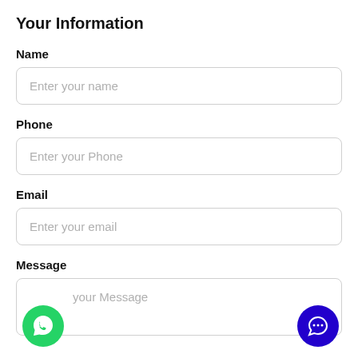Your Information
Name
Enter your name
Phone
Enter your Phone
Email
Enter your email
Message
your Message
[Figure (illustration): Green WhatsApp floating button icon at bottom left]
[Figure (illustration): Blue chat floating button icon at bottom right]